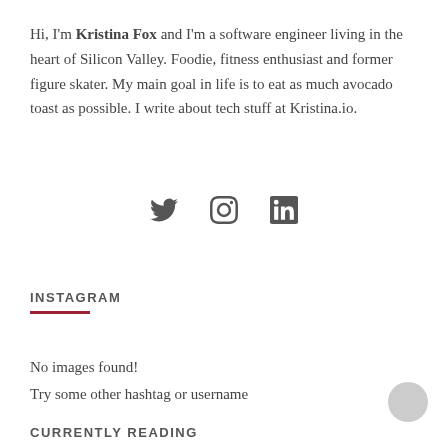Hi, I'm Kristina Fox and I'm a software engineer living in the heart of Silicon Valley. Foodie, fitness enthusiast and former figure skater. My main goal in life is to eat as much avocado toast as possible. I write about tech stuff at Kristina.io.
[Figure (infographic): Three social media icons: Twitter (bird), Instagram (camera outline), LinkedIn (in)]
INSTAGRAM
No images found!
Try some other hashtag or username
CURRENTLY READING